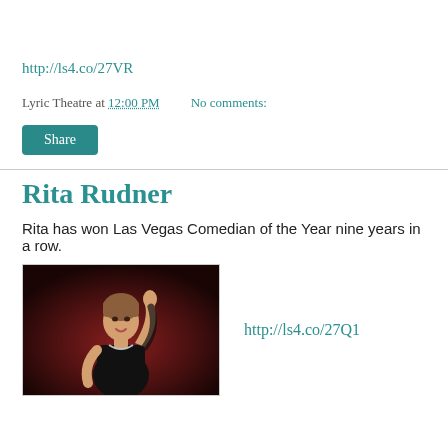http://ls4.co/27VR
Lyric Theatre at 12:00 PM   No comments:
Share
Rita Rudner
Rita has won Las Vegas Comedian of the Year nine years in a row.
[Figure (photo): Rita Rudner performing on stage against a dark red background, wearing a black strapless outfit and necklace, with one arm raised.]
http://ls4.co/27Q1